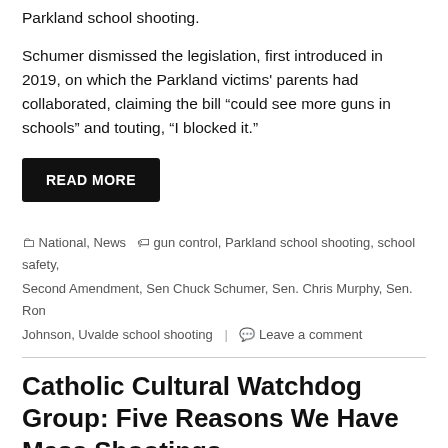Parkland school shooting.
Schumer dismissed the legislation, first introduced in 2019, on which the Parkland victims' parents had collaborated, claiming the bill “could see more guns in schools” and touting, “I blocked it.”
READ MORE
□ National, News  ◆ gun control, Parkland school shooting, school safety, Second Amendment, Sen Chuck Schumer, Sen. Chris Murphy, Sen. Ron Johnson, Uvalde school shooting  ○ Leave a comment
Catholic Cultural Watchdog Group: Five Reasons We Have Mass Shootings
May 27, 2022  Susan Berry, PhD
[Figure (photo): Photo of a man in a suit speaking at a microphone]
The president of a Catholic organization that keeps watch on the national culture writes in the wake of the Uvalde school massacre such